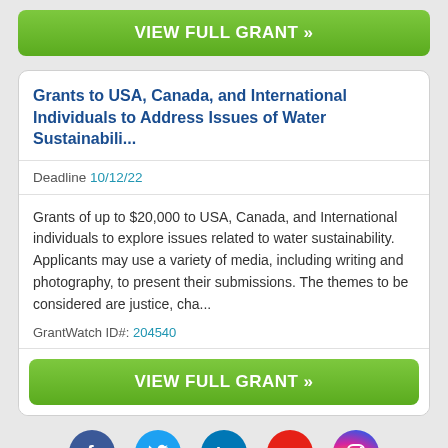VIEW FULL GRANT »
Grants to USA, Canada, and International Individuals to Address Issues of Water Sustainabili...
Deadline 10/12/22
Grants of up to $20,000 to USA, Canada, and International individuals to explore issues related to water sustainability. Applicants may use a variety of media, including writing and photography, to present their submissions. The themes to be considered are justice, cha...
GrantWatch ID#: 204540
VIEW FULL GRANT »
[Figure (infographic): Row of five social media icons: Facebook (blue circle), Twitter (light blue circle), LinkedIn (blue circle), YouTube (red circle), Instagram (gradient circle)]